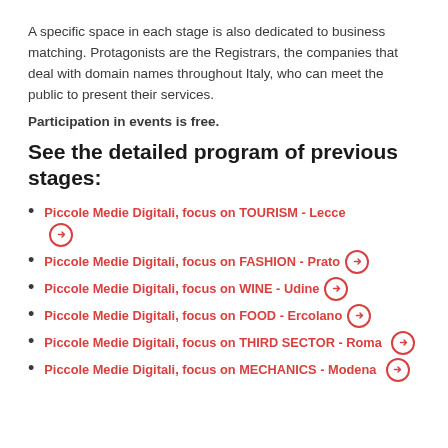A specific space in each stage is also dedicated to business matching. Protagonists are the Registrars, the companies that deal with domain names throughout Italy, who can meet the public to present their services.
Participation in events is free.
See the detailed program of previous stages:
Piccole Medie Digitali, focus on TOURISM - Lecce →
Piccole Medie Digitali, focus on FASHION - Prato →
Piccole Medie Digitali, focus on WINE - Udine →
Piccole Medie Digitali, focus on FOOD - Ercolano →
Piccole Medie Digitali, focus on THIRD SECTOR - Roma →
Piccole Medie Digitali, focus on MECHANICS - Modena →